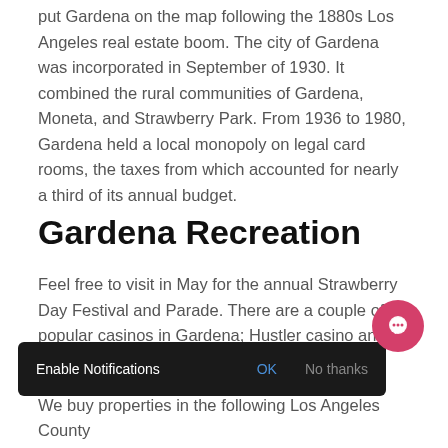put Gardena on the map following the 1880s Los Angeles real estate boom. The city of Gardena was incorporated in September of 1930. It combined the rural communities of Gardena, Moneta, and Strawberry Park. From 1936 to 1980, Gardena held a local monopoly on legal card rooms, the taxes from which accounted for nearly a third of its annual budget.
Gardena Recreation
Feel free to visit in May for the annual Strawberry Day Festival and Parade. There are a couple of popular casinos in Gardena; Hustler casino and Normandie casino. There is also a very popular annual Jazz festival in Gardena.
Enable Notifications  OK  No thanks
We buy properties in the following Los Angeles County